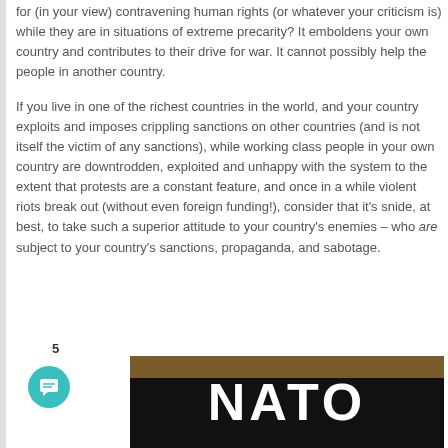for (in your view) contravening human rights (or whatever your criticism is) while they are in situations of extreme precarity? It emboldens your own country and contributes to their drive for war. It cannot possibly help the people in another country.
If you live in one of the richest countries in the world, and your country exploits and imposes crippling sanctions on other countries (and is not itself the victim of any sanctions), while working class people in your own country are downtrodden, exploited and unhappy with the system to the extent that protests are a constant feature, and once in a while violent riots break out (without even foreign funding!), consider that it's snide, at best, to take such a superior attitude to your country's enemies – who are subject to your country's sanctions, propaganda, and sabotage.
5
[Figure (photo): Black background image showing the word NATO in large white bold letters, with a dark olive/brown bar at the top]